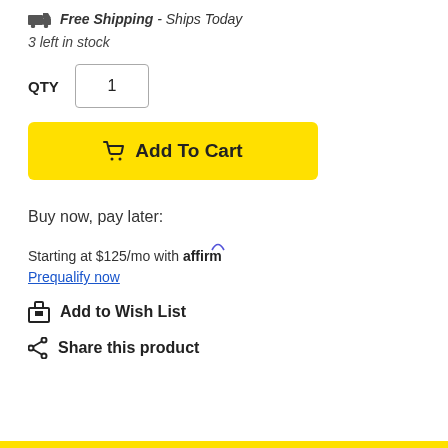Free Shipping - Ships Today
3 left in stock
QTY   1
Add To Cart
Buy now, pay later:
Starting at $125/mo with affirm
Prequalify now
Add to Wish List
Share this product